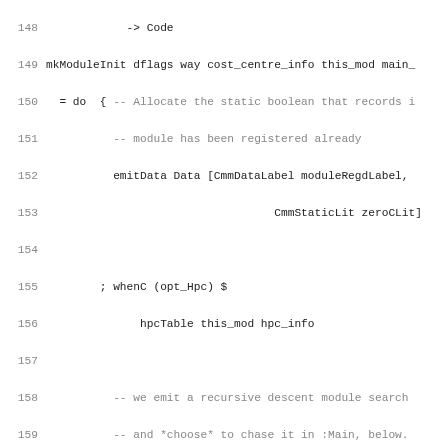[Figure (screenshot): Source code listing in Haskell/Cmm, lines 148-179, showing mkModuleInit function implementation with comments, do-notation, and various CmmBranch/emitSimpleProc calls.]